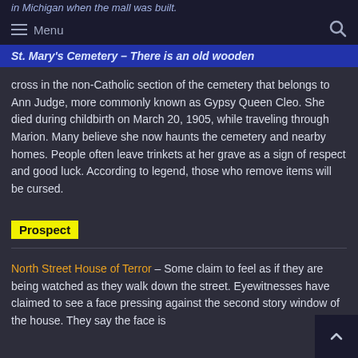in Michigan when the mall was built.
☰ Menu  🔍
St. Mary's Cemetery – There is an old wooden
cross in the non-Catholic section of the cemetery that belongs to Ann Judge, more commonly known as Gypsy Queen Cleo. She died during childbirth on March 20, 1905, while traveling through Marion. Many believe she now haunts the cemetery and nearby homes. People often leave trinkets at her grave as a sign of respect and good luck. According to legend, those who remove items will be cursed.
Prospect
North Street House of Terror – Some claim to feel as if they are being watched as they walk down the street. Eyewitnesses have claimed to see a face pressing against the second story window of the house. They say the face is